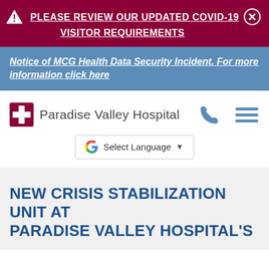⚠ PLEASE REVIEW OUR UPDATED COVID-19 VISITOR REQUIREMENTS
Notice of MCG Health Data Security Incident. For more information click here
[Figure (logo): Paradise Valley Hospital logo with red cross icon and hospital name]
Select Language
NEW CRISIS STABILIZATION UNIT AT PARADISE VALLEY HOSPITAL'S